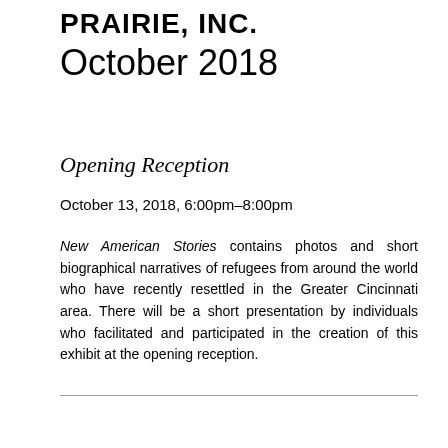PRAIRIE, INC.
October 2018
Opening Reception
October 13, 2018, 6:00pm–8:00pm
New American Stories contains photos and short biographical narratives of refugees from around the world who have recently resettled in the Greater Cincinnati area. There will be a short presentation by individuals who facilitated and participated in the creation of this exhibit at the opening reception.